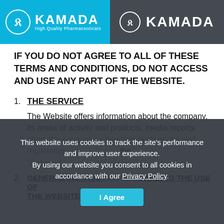[Figure (logo): Kamada High Quality Pharmaceuticals logo on blue background (left) and Kamada logo on dark gray background (right)]
IF YOU DO NOT AGREE TO ALL OF THESE TERMS AND CONDITIONS, DO NOT ACCESS AND USE ANY PART OF THE WEBSITE.
1. THE SERVICE
The Website offers information about the company, its areas of activity and products, media reports about the company, submitting applications and registration...the "Services".
2. GENERAL INSTRUCTIONS REGARDING THE USE OF THE WEBSITE
This website uses cookies to track the site's performance and improve user experience. By using our website you consent to all cookies in accordance with our Privacy Policy.